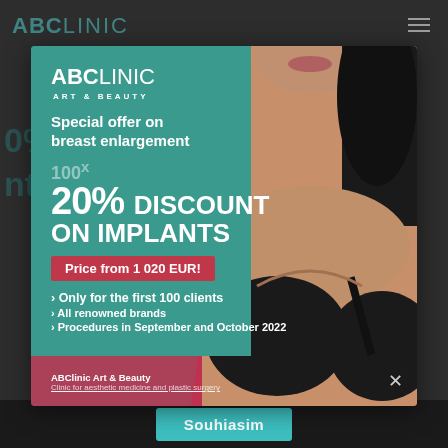[Figure (infographic): ABClinic Art & Beauty advertisement popup showing a woman and promotional text for breast enlargement with 20% discount on implants, price from 1 020 EUR]
ABCLINIC ART & BEAUTY
Special offer on breast enlargement
100x
20% DISCOUNT
ON IMPLANTS
Price from 1 020 EUR!
> Only for the first 100 clients
> All renowned brands
> Procedures in September and October 2022
ABClinic Art & Beauty
Clinic for aesthetic medicine and plastic surgery
Souhiasim